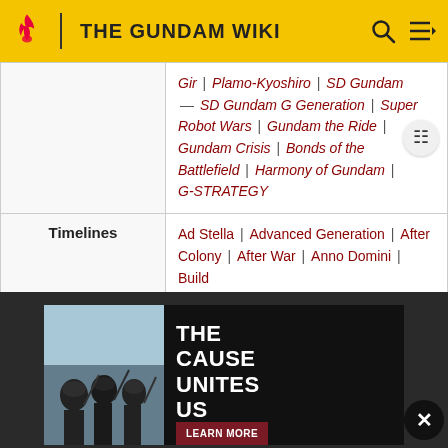THE GUNDAM WIKI
|  | Links |
| --- | --- |
|  | Girl | Plamo-Kyoshiro | SD Gundam — SD Gundam G Generation | Super Robot Wars | Gundam the Ride | Gundam Crisis | Bonds of the Battlefield | Harmony of Gundam | G-STRATEGY |
| Timelines | Ad Stella | Advanced Generation | After Colony | After War | Anno Domini | Build Fighters | Correct Century | Cosmic Era | Future Century | Mars Century | Post Disaster | Regild Century | SD Gundam | Universal Century |
[Figure (infographic): US Marines advertisement banner: 'THE CAUSE UNITES US' with LEARN MORE button and Marines logo]